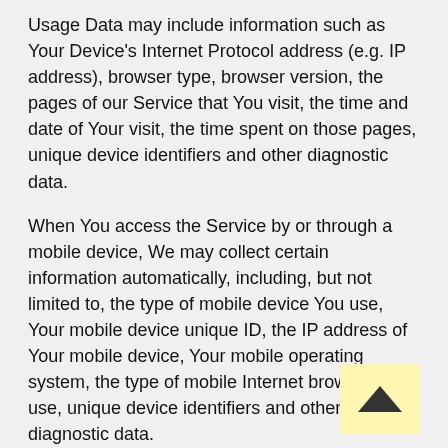Usage Data may include information such as Your Device's Internet Protocol address (e.g. IP address), browser type, browser version, the pages of our Service that You visit, the time and date of Your visit, the time spent on those pages, unique device identifiers and other diagnostic data.
When You access the Service by or through a mobile device, We may collect certain information automatically, including, but not limited to, the type of mobile device You use, Your mobile device unique ID, the IP address of Your mobile device, Your mobile operating system, the type of mobile Internet browser You use, unique device identifiers and other diagnostic data.
We may also collect information that Your browser sends whenever You visit our Service or when You access the Service by or through a mobile device.